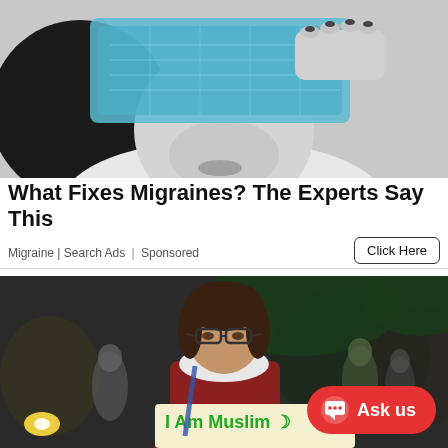[Figure (photo): Black and white photo of a woman holding a blue gel ice pack over her eyes, hand with dark nail polish visible.]
What Fixes Migraines? The Experts Say This
Migraine | Search Ads | Sponsored
Click Here
[Figure (photo): Color photo of a young woman with glasses standing at an outdoor gathering at night, holding a sign that reads 'I Am Muslim' with a crescent moon symbol. A red chat button with 'Ask us' text is overlaid in the bottom right corner.]